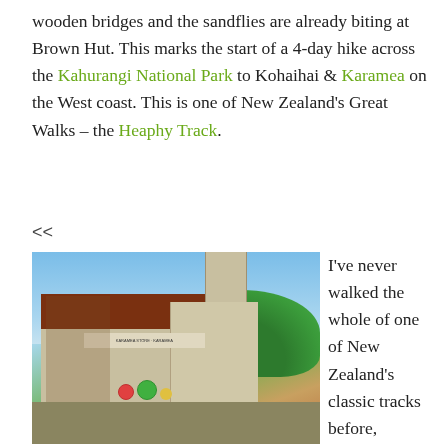wooden bridges and the sandflies are already biting at Brown Hut. This marks the start of a 4-day hike across the Kahurangi National Park to Kohaihai & Karamea on the West coast. This is one of New Zealand's Great Walks – the Heaphy Track.
<<
[Figure (photo): Photo of a rural store/cafe building with a red corrugated iron roof, outdoor seating with colorful chairs, hanging flower baskets, and lush green trees in the background under a blue sky. A sign reads 'KARAMEA STORE - KARAMEA'.]
I've never walked the whole of one of New Zealand's classic tracks before, although I've recently done a mini warm